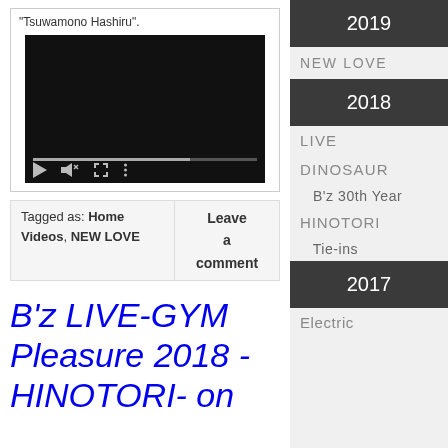"Tsuwamono Hashiru".
[Figure (screenshot): Embedded video player with dark background, playback controls (play, volume, fullscreen, more), and a progress bar.]
Tagged as: Home Videos, NEW LOVE | Leave a comment
B'z LIVE-GYM Pleasure 2018 - HINOTORI- on
2019
NEW LOVE
2018
LIVE
DINOSAUR
B'z 30th Year
HINOTORI
Tie-ins
2017
Electric